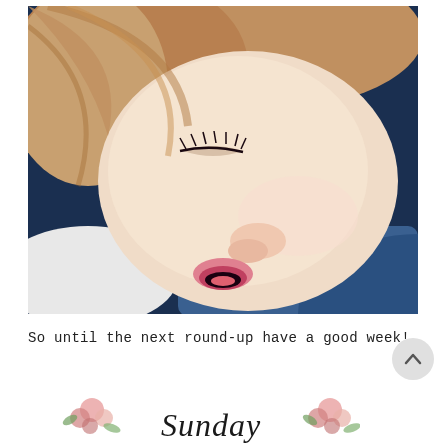[Figure (photo): Close-up photograph of a young child with reddish-blonde hair sleeping, mouth slightly open, resting on a blue fabric surface.]
So until the next round-up have a good week!
[Figure (illustration): Decorative banner/logo with floral rose motifs in corners and cursive script reading 'Sunday' or similar text in the center on a white background.]